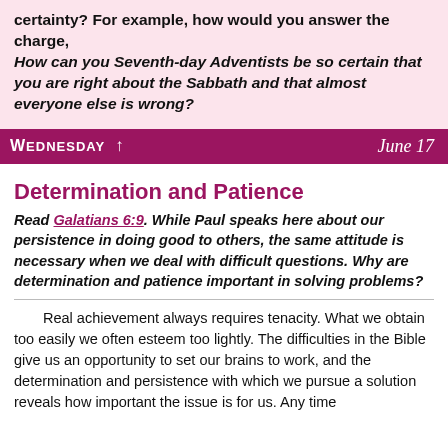certainty? For example, how would you answer the charge, How can you Seventh-day Adventists be so certain that you are right about the Sabbath and that almost everyone else is wrong?
Wednesday  ↑   June 17
Determination and Patience
Read Galatians 6:9. While Paul speaks here about our persistence in doing good to others, the same attitude is necessary when we deal with difficult questions. Why are determination and patience important in solving problems?
Real achievement always requires tenacity. What we obtain too easily we often esteem too lightly. The difficulties in the Bible give us an opportunity to set our brains to work, and the determination and persistence with which we pursue a solution reveals how important the issue is for us. Any time